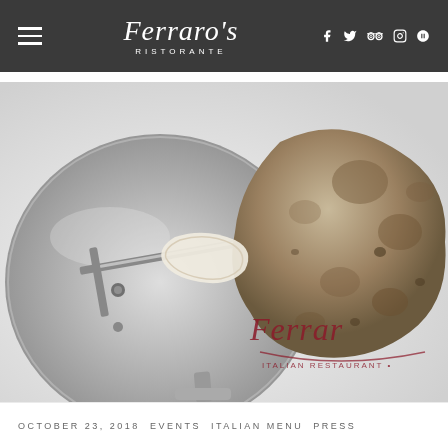Ferraro's Ristorante — navigation bar with hamburger menu and social icons (f, Twitter, TripAdvisor, Instagram, Yelp)
[Figure (photo): Close-up photograph of a white truffle being shaved with a metal truffle slicer on a white/silver background. The Ferraro Italian Restaurant logo is watermarked in the lower-right corner of the photo.]
OCTOBER 23, 2018 EVENTS ITALIAN MENU PRESS